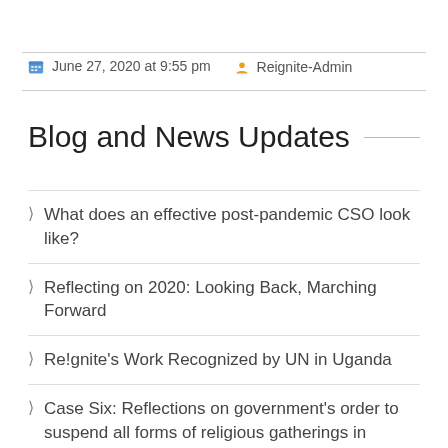June 27, 2020 at 9:55 pm   Reignite-Admin
Blog and News Updates
What does an effective post-pandemic CSO look like?
Reflecting on 2020: Looking Back, Marching Forward
Re!gnite's Work Recognized by UN in Uganda
Case Six: Reflections on government's order to suspend all forms of religious gatherings in Uganda